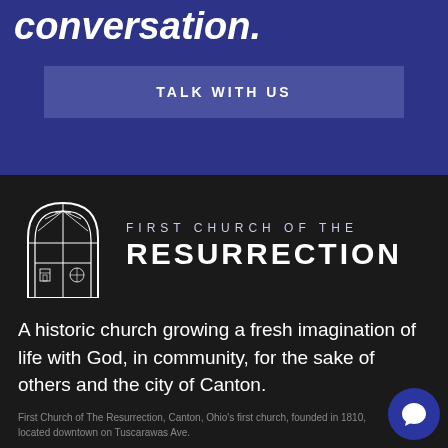conversation.
TALK WITH US
[Figure (logo): First Church of The Resurrection logo with gothic arch window illustration]
FIRST CHURCH OF THE RESURRECTION
A historic church growing a fresh imagination of life with God, in community, for the sake of others and the city of Canton.
First Church of The Resurrection, Canton, Ohio's first church, founded in 1810, located downtown on Tuscarawas Ave.